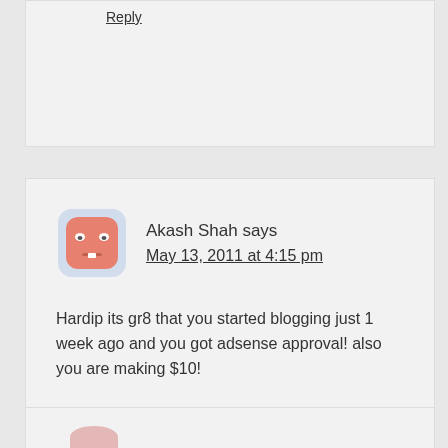Reply
Akash Shah says
May 13, 2011 at 4:15 pm
Hardip its gr8 that you started blogging just 1 week ago and you got adsense approval! also you are making $10!
Reply